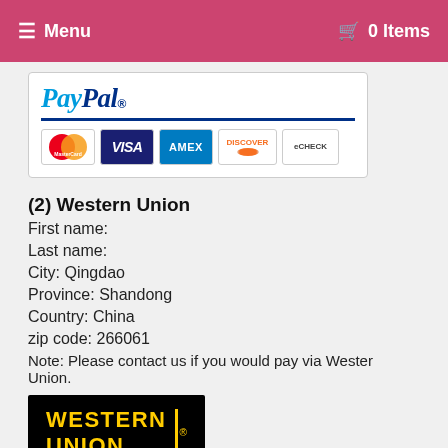≡ Menu   🛒 0 Items
[Figure (logo): PayPal payment logo with MasterCard, VISA, AMEX, DISCOVER, and eCheck card logos]
(2) Western Union
First name:
Last name:
City: Qingdao
Province: Shandong
Country: China
zip code: 266061
Note: Please contact us if you would pay via Wester Union.
[Figure (logo): Western Union logo — black background with yellow bold text WESTERN UNION and vertical bar]
(3) Money Gram
First name: